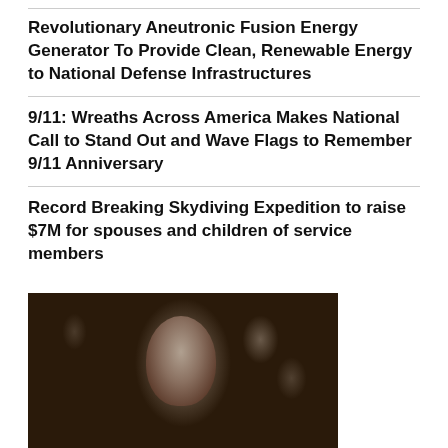Revolutionary Aneutronic Fusion Energy Generator To Provide Clean, Renewable Energy to National Defense Infrastructures
9/11: Wreaths Across America Makes National Call to Stand Out and Wave Flags to Remember 9/11 Anniversary
Record Breaking Skydiving Expedition to raise $7M for spouses and children of service members
[Figure (photo): Black and white photo of a man in a suit with a tie, seated, looking forward, with a crowd visible in the background]